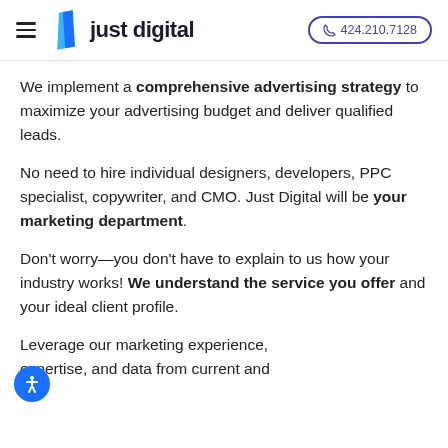just digital | 424.210.7128
We implement a comprehensive advertising strategy to maximize your advertising budget and deliver qualified leads.
No need to hire individual designers, developers, PPC specialist, copywriter, and CMO. Just Digital will be your marketing department.
Don't worry—you don't have to explain to us how your industry works! We understand the service you offer and your ideal client profile.
Leverage our marketing experience, expertise, and data from current and